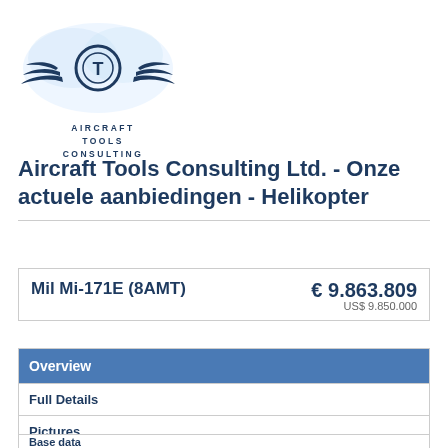[Figure (logo): Aircraft Tools Consulting logo with wings and circular emblem, blue on light cloud background, with text AIRCRAFT TOOLS CONSULTING below]
Aircraft Tools Consulting Ltd. - Onze actuele aanbiedingen - Helikopter
| Mil Mi-171E (8AMT) | € 9.863.809
US$ 9.850.000 |
| Overview |
| --- |
| Full Details |
| Pictures |
| Contact Seller |
Base data